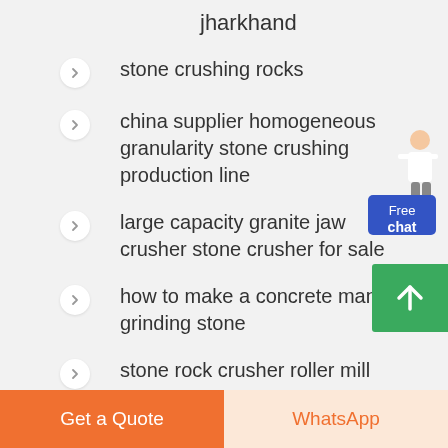jharkhand
stone crushing rocks
china supplier homogeneous granularity stone crushing production line
large capacity granite jaw crusher stone crusher for sale
how to make a concrete manual grinding stone
stone rock crusher roller mill
Get a Quote | WhatsApp